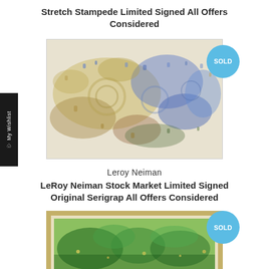Stretch Stampede Limited Signed All Offers Considered
[Figure (photo): Abstract colorful artwork showing crowd/stampede scene with blue, gold, and white colors]
Leroy Neiman
LeRoy Neiman Stock Market Limited Signed Original Serigrap All Offers Considered
[Figure (photo): Framed serigraph artwork showing green landscape scene in gold frame]